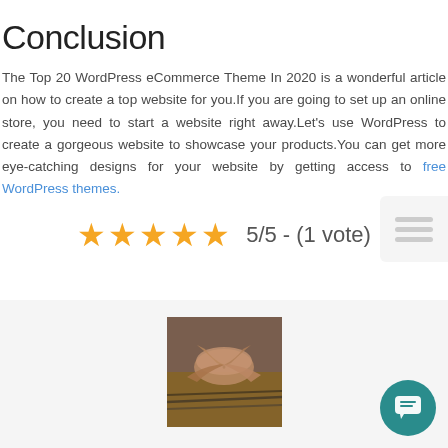Conclusion
The Top 20 WordPress eCommerce Theme In 2020 is a wonderful article on how to create a top website for you.If you are going to set up an online store, you need to start a website right away.Let's use WordPress to create a gorgeous website to showcase your products.You can get more eye-catching designs for your website by getting access to free WordPress themes.
5/5 - (1 vote)
[Figure (photo): People joining hands together in a teamwork gesture, viewed from above, on a wooden surface with cables visible.]